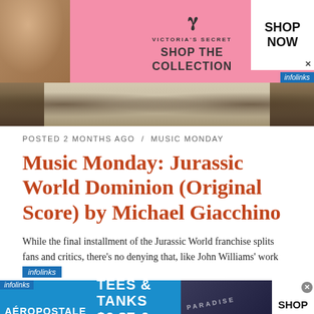[Figure (photo): Victoria's Secret advertisement banner with pink background, model on left, 'SHOP THE COLLECTION' text in center, 'SHOP NOW' button on right, infolinks badge at bottom right]
[Figure (photo): Hero image showing close-up of what appears to be dinosaur claws or dark creature against a light background]
POSTED 2 MONTHS AGO / MUSIC MONDAY
Music Monday: Jurassic World Dominion (Original Score) by Michael Giacchino
While the final installment of the Jurassic World franchise splits fans and critics, there's no denying that, like John Williams' work
[Figure (photo): Aeropostale advertisement: 'TEES & TANKS $6.87 & UP SHOP NOW' with denim/clothing image in background]